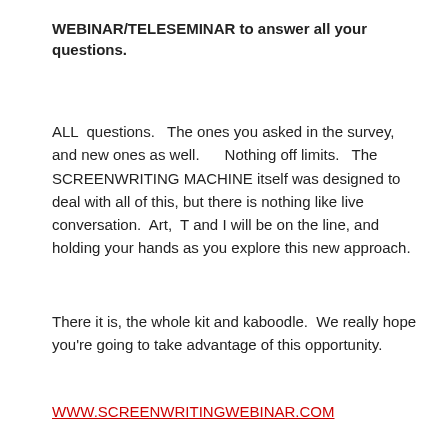WEBINAR/TELESEMINAR to answer all your questions.
ALL  questions.   The ones you asked in the survey, and new ones as well.      Nothing off limits.   The SCREENWRITING MACHINE itself was designed to deal with all of this, but there is nothing like live conversation.  Art,  T and I will be on the line, and holding your hands as you explore this new approach.
There it is, the whole kit and kaboodle.  We really hope you’re going to take advantage of this opportunity.
WWW.SCREENWRITINGWEBINAR.COM